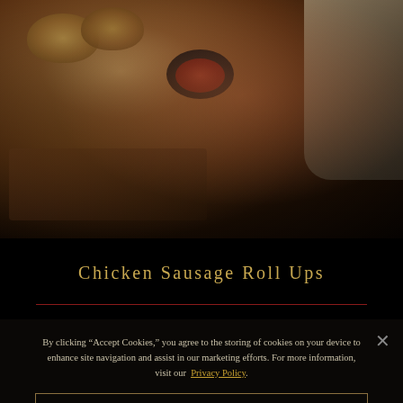[Figure (photo): Food photograph showing chicken sausage roll ups on a wooden cutting board, with a small dark bowl of red sauce/jam, and a folded linen cloth, on a dark rustic surface]
Chicken Sausage Roll Ups
By clicking “Accept Cookies,” you agree to the storing of cookies on your device to enhance site navigation and assist in our marketing efforts. For more information, visit our Privacy Policy.
COOKIE SETTINGS
ACCEPT COOKIES